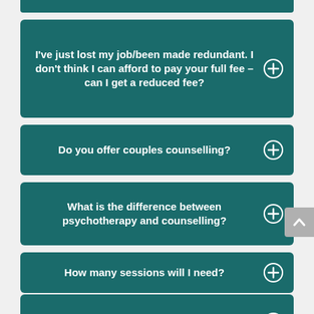I've just lost my job/been made redundant. I don't think I can afford to pay your full fee – can I get a reduced fee?
Do you offer couples counselling?
What is the difference between psychotherapy and counselling?
How many sessions will I need?
How often should I come to see you?